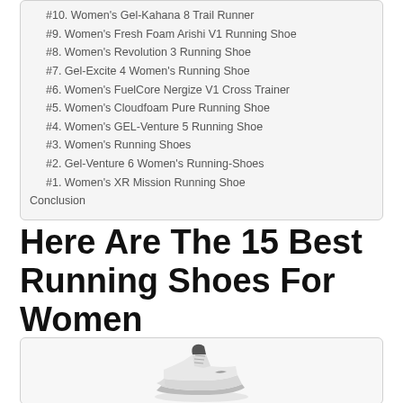#10. Women's Gel-Kahana 8 Trail Runner
#9. Women's Fresh Foam Arishi V1 Running Shoe
#8. Women's Revolution 3 Running Shoe
#7. Gel-Excite 4 Women's Running Shoe
#6. Women's FuelCore Nergize V1 Cross Trainer
#5. Women's Cloudfoam Pure Running Shoe
#4. Women's GEL-Venture 5 Running Shoe
#3. Women's Running Shoes
#2. Gel-Venture 6 Women's Running-Shoes
#1. Women's XR Mission Running Shoe
Conclusion
Here Are The 15 Best Running Shoes For Women
[Figure (photo): A gray running shoe for women partially visible at the bottom of the page]